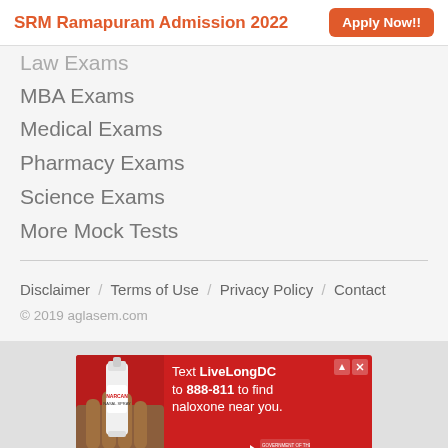[Figure (infographic): SRM Ramapuram Admission 2022 advertisement banner with orange Apply Now!! button]
Law Exams
MBA Exams
Medical Exams
Pharmacy Exams
Science Exams
More Mock Tests
Disclaimer / Terms of Use / Privacy Policy / Contact
© 2019 aglasem.com
[Figure (infographic): Red advertisement: Text LiveLongDC to 888-811 to find naloxone near you. Live Long DC DBH DC Government logo. Shows a hand holding a nasal spray.]